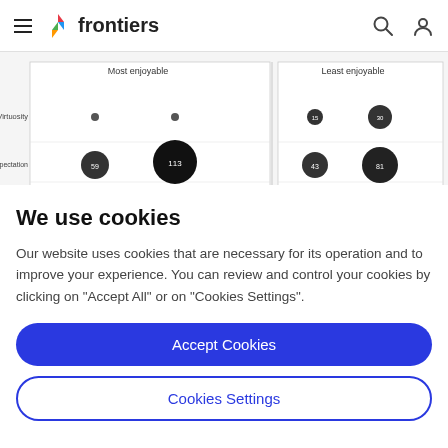frontiers
[Figure (other): Partial bubble chart showing 'Most enjoyable' and 'Least enjoyable' columns with rows: Virtuosity, Violation of expectation (values 59, 113, 43, 81), Joy of verification (35, 32, 42, 44). Chart is partially obscured by cookie overlay.]
We use cookies
Our website uses cookies that are necessary for its operation and to improve your experience. You can review and control your cookies by clicking on "Accept All" or on "Cookies Settings".
Accept Cookies
Cookies Settings